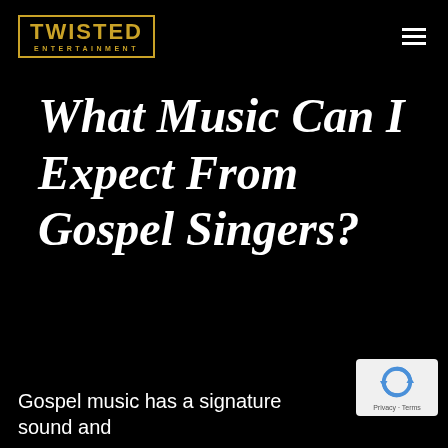TWISTED ENTERTAINMENT
What Music Can I Expect From Gospel Singers?
[Figure (logo): reCAPTCHA badge with circular arrow icon and Privacy-Terms link]
Gospel music has a signature sound and